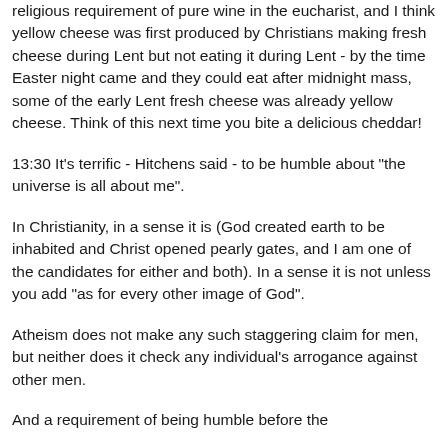religious requirement of pure wine in the eucharist, and I think yellow cheese was first produced by Christians making fresh cheese during Lent but not eating it during Lent - by the time Easter night came and they could eat after midnight mass, some of the early Lent fresh cheese was already yellow cheese. Think of this next time you bite a delicious cheddar!
13:30 It's terrific - Hitchens said - to be humble about "the universe is all about me".
In Christianity, in a sense it is (God created earth to be inhabited and Christ opened pearly gates, and I am one of the candidates for either and both). In a sense it is not unless you add "as for every other image of God".
Atheism does not make any such staggering claim for men, but neither does it check any individual's arrogance against other men.
And a requirement of being humble before the